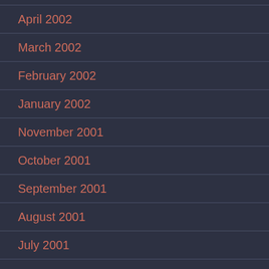April 2002
March 2002
February 2002
January 2002
November 2001
October 2001
September 2001
August 2001
July 2001
May 2001
April 2001
March 2001